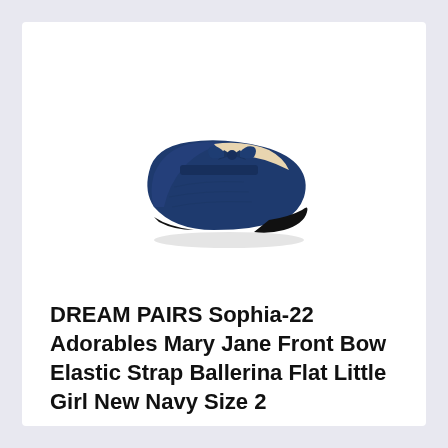[Figure (photo): A navy blue girls' ballerina flat shoe with a bow on the front strap, shown from a slight angle on a white background.]
DREAM PAIRS Sophia-22 Adorables Mary Jane Front Bow Elastic Strap Ballerina Flat Little Girl New Navy Size 2